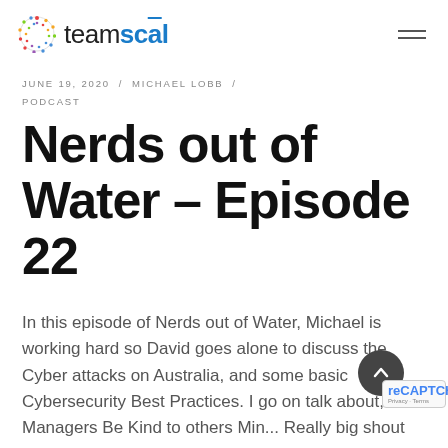teamscāl
JUNE 19, 2020 / MICHAEL LOBB / PODCAST
Nerds out of Water – Episode 22
In this episode of Nerds out of Water, Michael is working hard so David goes alone to discuss the Cyber attacks on Australia, and some basic Cybersecurity Best Practices. I go on talk about, Managers Be Kind to others Min... Really big shout out to Beyond Blue, who he...